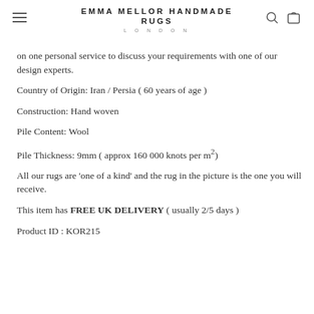EMMA MELLOR HANDMADE RUGS LONDON
on one personal service to discuss your requirements with one of our design experts.
Country of Origin: Iran / Persia ( 60 years of age )
Construction: Hand woven
Pile Content: Wool
Pile Thickness: 9mm ( approx 160 000 knots per m²)
All our rugs are 'one of a kind' and the rug in the picture is the one you will receive.
This item has FREE UK DELIVERY ( usually 2/5 days )
Product ID : KOR215